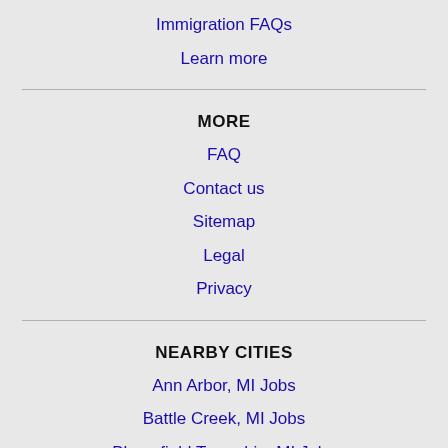Immigration FAQs
Learn more
MORE
FAQ
Contact us
Sitemap
Legal
Privacy
NEARBY CITIES
Ann Arbor, MI Jobs
Battle Creek, MI Jobs
Bloomfield Township, MI Jobs
Dearborn, MI Jobs
Dearborn Heights, MI Jobs
Detroit, MI Jobs